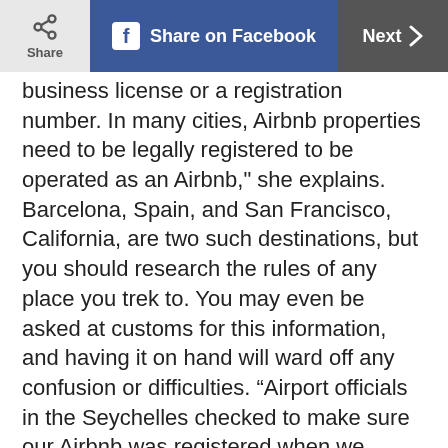Share | Share on Facebook | Next
business license or a registration number. In many cities, Airbnb properties need to be legally registered to be operated as an Airbnb," she explains. Barcelona, Spain, and San Francisco, California, are two such destinations, but you should research the rules of any place you trek to. You may even be asked at customs for this information, and having it on hand will ward off any confusion or difficulties. “Airport officials in the Seychelles checked to make sure our Airbnb was registered when we arrived at the airport," Norah says. Where to find it? She says for most of these cities, you will find a business or city license-registration number listed somewhere on the property description.